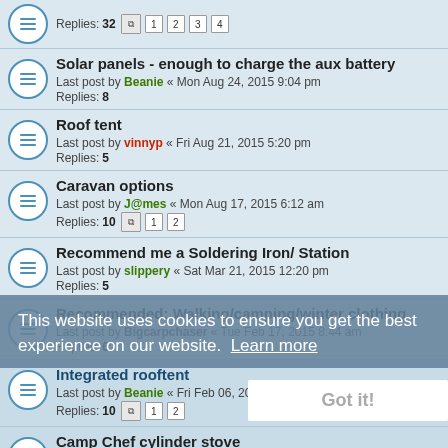Solar panels - enough to charge the aux battery
Last post by Beanie « Mon Aug 24, 2015 9:04 pm
Replies: 8
Roof tent
Last post by vinnyp « Fri Aug 21, 2015 5:20 pm
Replies: 5
Caravan options
Last post by J@mes « Mon Aug 17, 2015 6:12 am
Replies: 10 [1][2]
Recommend me a Soldering Iron/ Station
Last post by slippery « Sat Mar 21, 2015 12:20 pm
Replies: 5
Recommended: Walking/camping/winter clothing
Last post by Bigcarpchaser « Tue Feb 17, 2015 8:44 am
Replies: 6
Integrated rooftent
Last post by Beanie « Fri Feb 06, 2015 4:02 pm
Replies: 10 [1][2]
Camp Chef cylinder stove
Last post by Stu « Mon Feb 02, 2015 8:38 pm
Replies: 8
Flashaholics - Great service
Last post by anglefire « Tue Jan 06, 2015 8:24 pm
Replies: 25 [1][2][3]
This website uses cookies to ensure you get the best experience on our website. Learn more
Got it!